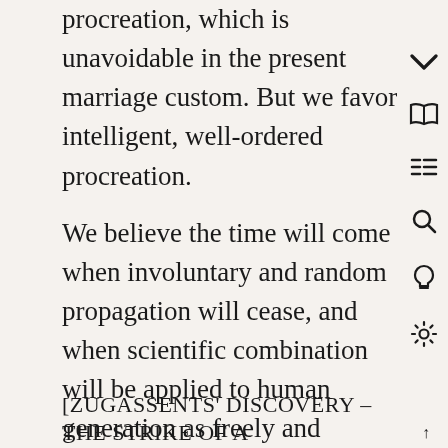procreation, which is unavoidable in the present marriage custom. But we favor intelligent, well-ordered procreation.
We believe the time will come when involuntary and random propagation will cease, and when scientific combination will be applied to human generation as freely and successfully as it is to that of other animals. And at all events, we believe that good sense and benevolence will very soon sanction and enforce the rule that women shall bear children only when they choose. They have the principal burden of breeding to bear, and they, rather than men, should have their choice of time and circumstances.
[ZUGASSENTS' DISCOVERY – THE STRIKE OF A